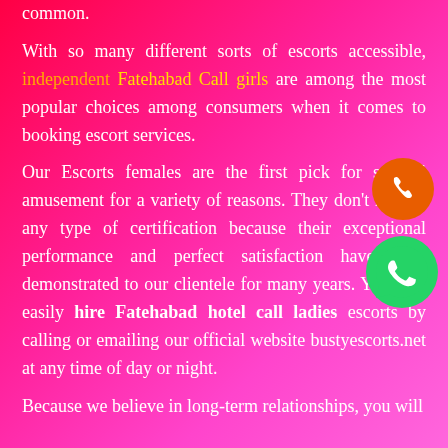common.
With so many different sorts of escorts accessible, independent Fatehabad Call girls are among the most popular choices among consumers when it comes to booking escort services.
Our Escorts females are the first pick for sensual amusement for a variety of reasons. They don't require any type of certification because their exceptional performance and perfect satisfaction have been demonstrated to our clientele for many years. You may easily hire Fatehabad hotel call ladies escorts by calling or emailing our official website bustyescorts.net at any time of day or night.
Because we believe in long-term relationships, you will be sure you need not worry it, infidelity and others